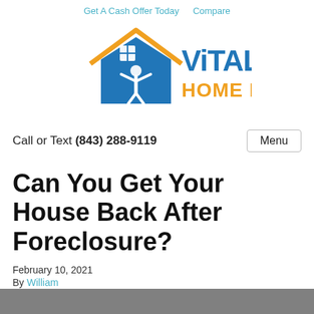Get A Cash Offer Today   Compare
[Figure (logo): Vitality Home Buyers logo: blue house silhouette with person raising arms, orange roof lines, blue text VITALITY, orange text HOME BUYERS]
Call or Text (843) 288-9119
Can You Get Your House Back After Foreclosure?
February 10, 2021
By William
[Figure (photo): Partial photo strip at bottom of page, partially visible]